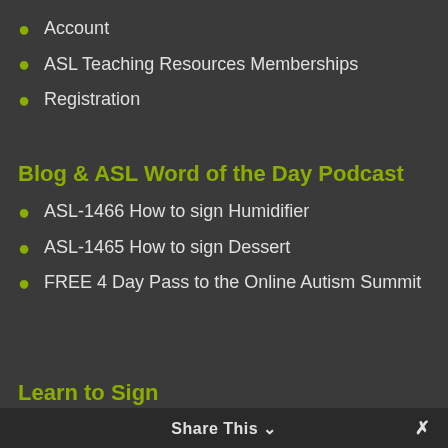Account
ASL Teaching Resources Memberships
Registration
Blog & ASL Word of the Day Podcast
ASL-1466 How to sign Humidifier
ASL-1465 How to sign Dessert
FREE 4 Day Pass to the Online Autism Summit
Learn to Sign
While
Sell
Story Time
Share This ∨  ✕